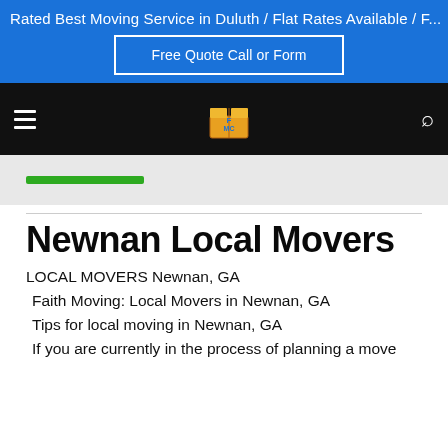Rated Best Moving Service in Duluth / Flat Rates Available / F...
Free Quote Call or Form
[Figure (logo): FMC moving company logo with stacked boxes]
Newnan Local Movers
LOCAL MOVERS Newnan, GA
Faith Moving: Local Movers in Newnan, GA
Tips for local moving in Newnan, GA
If you are currently in the process of planning a move